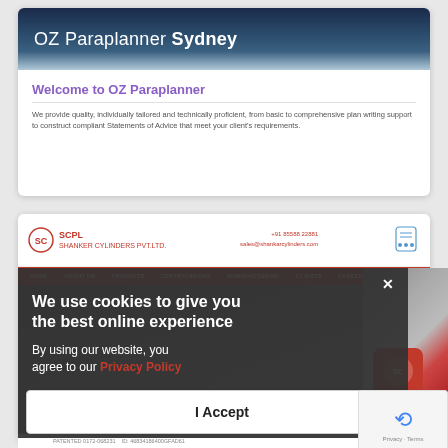[Figure (screenshot): OZ Paraplanner Sydney website screenshot showing header image of Sydney city skyline at night with text overlay 'OZ Paraplanner Sydney', a welcome section with title 'Welcome to OZ Paraplanner' and descriptive text about providing quality plan writing support.]
[Figure (screenshot): SCPL (Shanker Cylinders Pvt. Ltd.) website screenshot showing company header with logo, contact info (+91 85588 22881, sales@shankarcylinders.com), red navigation bar with menu items HOME, ABOUT US, PRODUCTS, CERTIFICATIONS, MANUFACTURING, CLIENTS, CAREER, CONTACT US. A cookie consent modal overlay reads 'We use cookies to give you the best online experience. By using our website, you agree to our Privacy Policy' with an 'I Accept' button. Right side shows kitchen background image with red SCPL LPG cylinder.]
We use cookies to give you the best online experience
By using our website, you agree to our Privacy Policy
I Accept